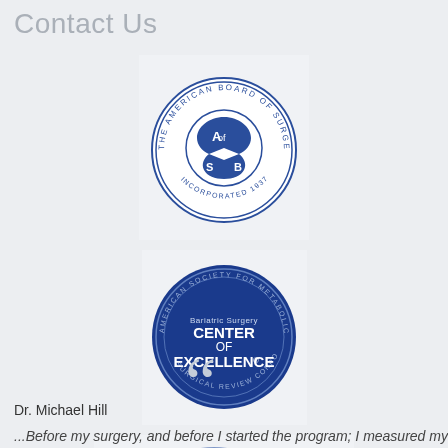Contact Us
[Figure (logo): American Board of Surgery seal/logo — circular blue and white emblem with ABS letters and surgical symbols, text 'THE AMERICAN BOARD OF SURGERY INCORPORATED 1937']
[Figure (logo): Bariatric Surgery Center of Excellence logo — dark blue circular badge with text 'AMERICAN SOCIETY FOR METABOLIC & BARIATRIC SURGERY', 'Bariatric Surgery CENTER OF EXCELLENCE', 'SURGICAL REVIEW CORPORATION']
[Figure (logo): Fellow American College of Surgeons (FACS) logo — blue circular seal with 'FACS' in large letters, text 'FELLOW AMERICAN COLLEGE OF SURGEONS', 'COMMITTED TO EXCELLENCE']
Dr. Michael Hill
...Before my surgery, and before I started the program; I measured myself...